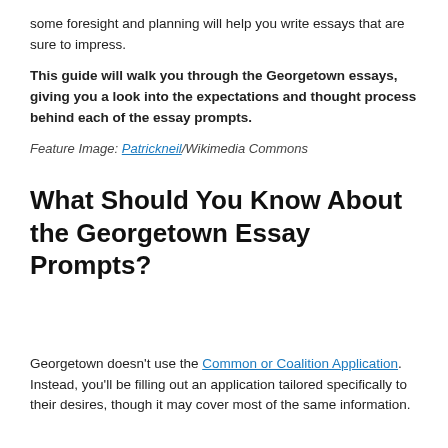some foresight and planning will help you write essays that are sure to impress.
This guide will walk you through the Georgetown essays, giving you a look into the expectations and thought process behind each of the essay prompts.
Feature Image: Patrickneil/Wikimedia Commons
What Should You Know About the Georgetown Essay Prompts?
Georgetown doesn't use the Common or Coalition Application. Instead, you'll be filling out an application tailored specifically to their desires, though it may cover most of the same information.